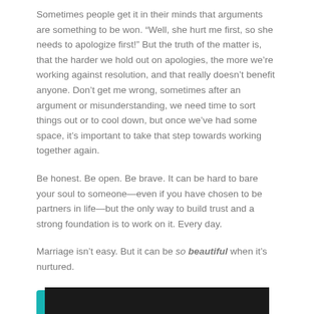Sometimes people get it in their minds that arguments are something to be won. “Well, she hurt me first, so she needs to apologize first!” But the truth of the matter is, that the harder we hold out on apologies, the more we’re working against resolution, and that really doesn’t benefit anyone. Don’t get me wrong, sometimes after an argument or misunderstanding, we need time to sort things out or to cool down, but once we’ve had some space, it’s important to take that step towards working together again.
Be honest. Be open. Be brave. It can be hard to bare your soul to someone—even if you have chosen to be partners in life—but the only way to build trust and a strong foundation is to work on it. Every day.
Marriage isn’t easy. But it can be so beautiful when it’s nurtured.
[Figure (other): Social sharing buttons: SHARE (Facebook), TWEET (Twitter), PIN IT (Pinterest) in teal/cyan background]
[Figure (photo): Dark partially visible image strip at bottom of page]